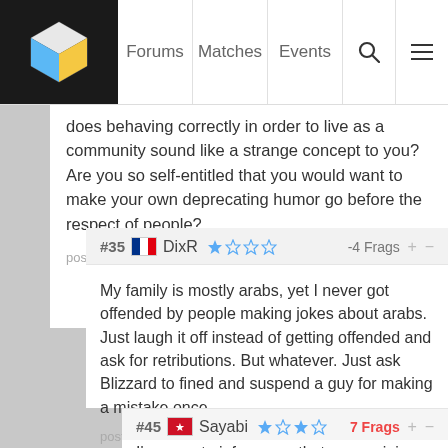Forums | Matches | Events
does behaving correctly in order to live as a community sound like a strange concept to you? Are you so self-entitled that you would want to make your own deprecating humor go before the respect of people?
posted about 4 years ago   reply · link
#35 DixR -4 Frags + -
My family is mostly arabs, yet I never got offended by people making jokes about arabs. Just laugh it off instead of getting offended and ask for retributions. But whatever. Just ask Blizzard to fined and suspend a guy for making a mistake once.
posted about 4 years ago   reply · link
#45 Sayabi 7 Frags + -
I'm sorry to inform you that your opinion